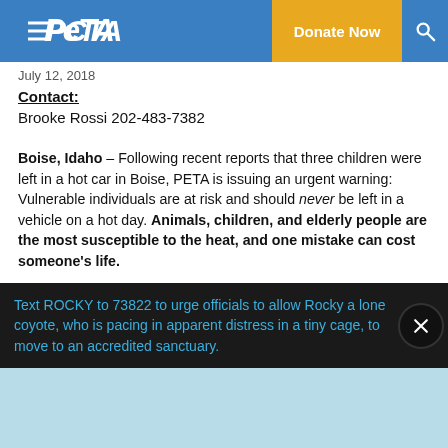PETA | Donate Now
July 12, 2018
Contact:
Brooke Rossi 202-483-7382
Boise, Idaho – Following recent reports that three children were left in a hot car in Boise, PETA is issuing an urgent warning: Vulnerable individuals are at risk and should never be left in a vehicle on a hot day. Animals, children, and elderly people are the most susceptible to the heat, and one mistake can cost someone's life.
PETA has released a hot-car public service announce…
Text ROCKY to 73822 to urge officials to allow Rocky a lone coyote, who is pacing in apparent distress in a tiny cage, to move to an accredited sanctuary.